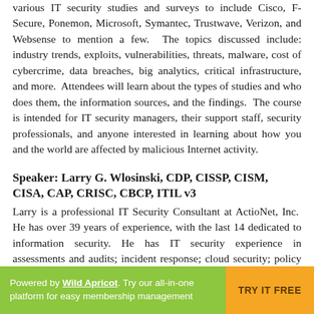various IT security studies and surveys to include Cisco, F-Secure, Ponemon, Microsoft, Symantec, Trustwave, Verizon, and Websense to mention a few.  The topics discussed include: industry trends, exploits, vulnerabilities, threats, malware, cost of cybercrime, data breaches, big analytics, critical infrastructure, and more.  Attendees will learn about the types of studies and who does them, the information sources, and the findings.  The course is intended for IT security managers, their support staff, security professionals, and anyone interested in learning about how you and the world are affected by malicious Internet activity.
Speaker: Larry G. Wlosinski, CDP, CISSP, CISM, CISA, CAP, CRISC, CBCP, ITIL v3
Larry is a professional IT Security Consultant at ActioNet, Inc.  He has over 39 years of experience, with the last 14 dedicated to information security. He has IT security experience in assessments and audits; incident response; cloud security; policy and procedures; contingency planning; and awareness and training.  He was a Section Manager at Computer Science Corporation (CSC), an Information Security Manager for Lockheed Martin, and an
Powered by Wild Apricot. Try our all-in-one platform for easy membership management  TRY IT FREE